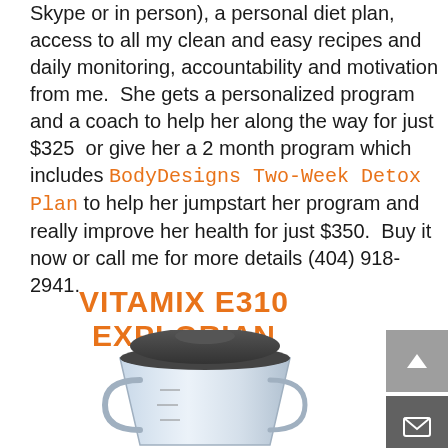Skype or in person), a personal diet plan, access to all my clean and easy recipes and daily monitoring, accountability and motivation from me.  She gets a personalized program and a coach to help her along the way for just $325  or give her a 2 month program which includes BodyDesigns Two-Week Detox Plan to help her jumpstart her program and really improve her health for just $350.  Buy it now or call me for more details (404) 918-2941.
VITAMIX E310 EXPLORIAN
[Figure (photo): Vitamix E310 Explorian blender container/jar shown partially, clear plastic container with dark lid]